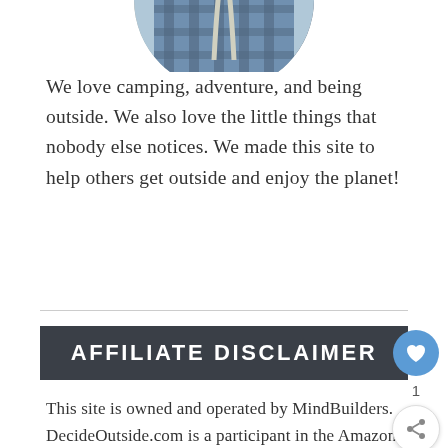[Figure (photo): Circular profile photo of a person wearing a plaid shirt, cropped at top of page]
We love camping, adventure, and being outside. We also love the little things that nobody else notices. We made this site to help others get outside and enjoy the planet!
AFFILIATE DISCLAIMER
This site is owned and operated by MindBuilders. DecideOutside.com is a participant in the Amazon Services LLC Associates Program, an affiliate advertising program designed to provide a means for sites to earn advertising fees by advertising and linking to Amazon.com. This site also participates in other affiliate programs and is